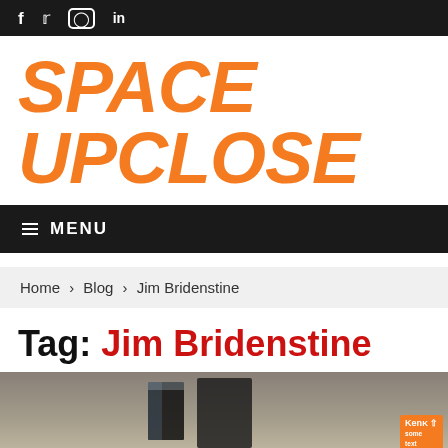f  Twitter  Instagram  in
[Figure (logo): Space UpClose logo in bold italic orange text on white background]
≡ MENU
Home › Blog › Jim Bridenstine
Tag: Jim Bridenstine
[Figure (photo): Interior photo of a large space facility or museum with a dark rocket or spacecraft component visible, partially cropped at bottom of page]